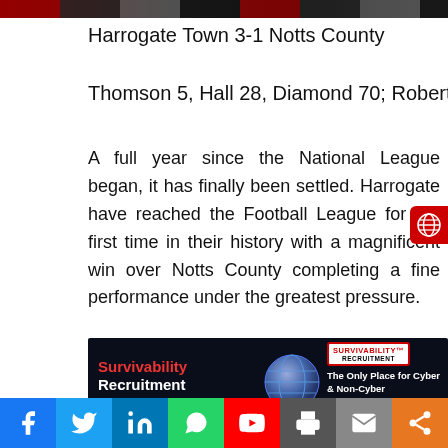[Figure (photo): Top banner image with dark red and gray tones, partially visible sports/news image]
Harrogate Town 3-1 Notts County
Thomson 5, Hall 28, Diamond 70; Roberts 46
A full year since the National League began, it has finally been settled. Harrogate have reached the Football League for the first time in their history with a magnificent win over Notts County completing a fine performance under the greatest pressure.
[Figure (photo): Survivability Recruitment advertisement banner - The Only Place for Cyber & Non-Cyber Survivability & Security Recruitment. www.survivabilityrecruitment.com]
Advertisement